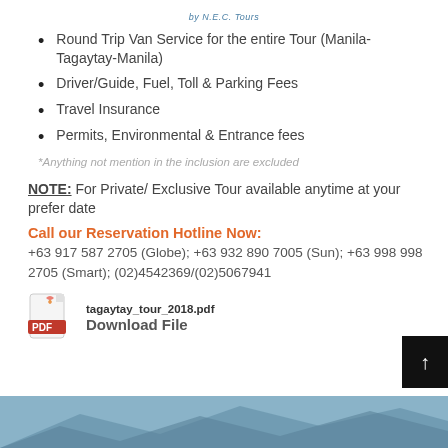by N.E.C. Tours
Round Trip Van Service for the entire Tour (Manila-Tagaytay-Manila)
Driver/Guide, Fuel, Toll & Parking Fees
Travel Insurance
Permits, Environmental & Entrance fees
*Anything not mention in the inclusion are excluded
NOTE: For Private/ Exclusive Tour available anytime at your prefer date
Call our Reservation Hotline Now:
+63 917 587 2705 (Globe); +63 932 890 7005 (Sun); +63 998 998 2705 (Smart); (02)4542369/(02)5067941
tagaytay_tour_2018.pdf  Download File